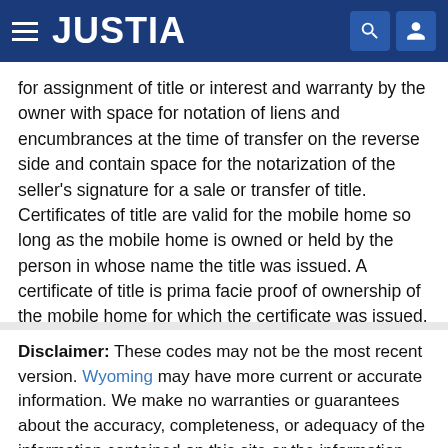JUSTIA
for assignment of title or interest and warranty by the owner with space for notation of liens and encumbrances at the time of transfer on the reverse side and contain space for the notarization of the seller's signature for a sale or transfer of title. Certificates of title are valid for the mobile home so long as the mobile home is owned or held by the person in whose name the title was issued. A certificate of title is prima facie proof of ownership of the mobile home for which the certificate was issued.
Disclaimer: These codes may not be the most recent version. Wyoming may have more current or accurate information. We make no warranties or guarantees about the accuracy, completeness, or adequacy of the information contained on this site or the information linked to on the state site. Please